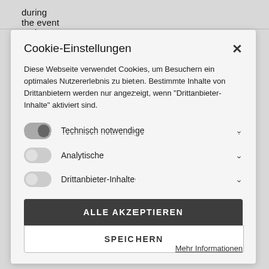during the event and execution of all remaining
Cookie-Einstellungen
Diese Webseite verwendet Cookies, um Besuchern ein optimales Nutzererlebnis zu bieten. Bestimmte Inhalte von Drittanbietern werden nur angezeigt, wenn "Drittanbieter-Inhalte" aktiviert sind.
Technisch notwendige
Analytische
Drittanbieter-Inhalte
ALLE AKZEPTIEREN
SPEICHERN
Mehr Informationen